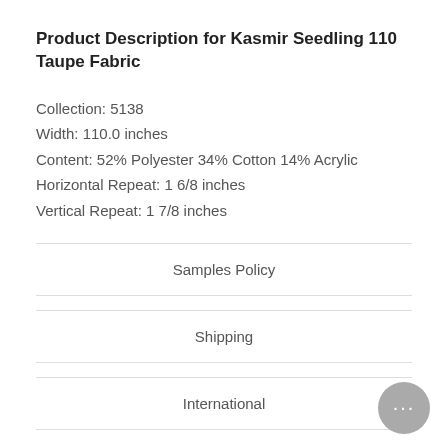Product Description for Kasmir Seedling 110 Taupe Fabric
Collection: 5138
Width: 110.0 inches
Content: 52% Polyester 34% Cotton 14% Acrylic
Horizontal Repeat: 1 6/8 inches
Vertical Repeat: 1 7/8 inches
Samples Policy
Shipping
International